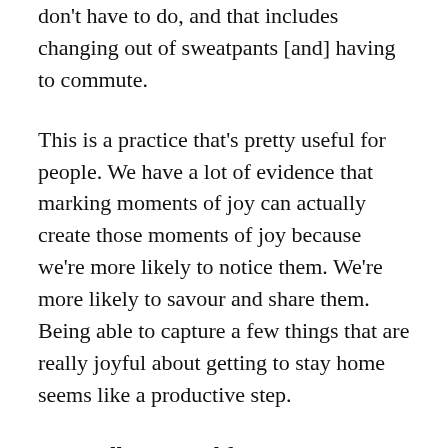don't have to do, and that includes changing out of sweatpants [and] having to commute.
This is a practice that’s pretty useful for people. We have a lot of evidence that marking moments of joy can actually create those moments of joy because we’re more likely to notice them. We’re more likely to savour and share them. Being able to capture a few things that are really joyful about getting to stay home seems like a productive step.
We’re all separated from our teams. How can we maintain a sense of belonging while isolated at home?
I don’t know that it’s easy. In one company